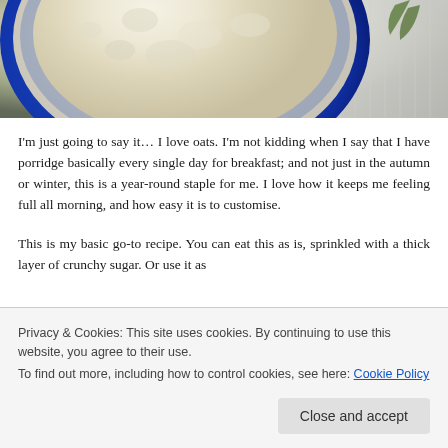[Figure (photo): Close-up photo of a bowl of porridge/oatmeal in a blue-rimmed bowl viewed from above, with a textured cloth or surface visible to the right]
I'm just going to say it… I love oats. I'm not kidding when I say that I have porridge basically every single day for breakfast; and not just in the autumn or winter, this is a year-round staple for me. I love how it keeps me feeling full all morning, and how easy it is to customise.
This is my basic go-to recipe. You can eat this as is, sprinkled with a thick layer of crunchy sugar. Or use it as
Privacy & Cookies: This site uses cookies. By continuing to use this website, you agree to their use.
To find out more, including how to control cookies, see here: Cookie Policy
Close and accept